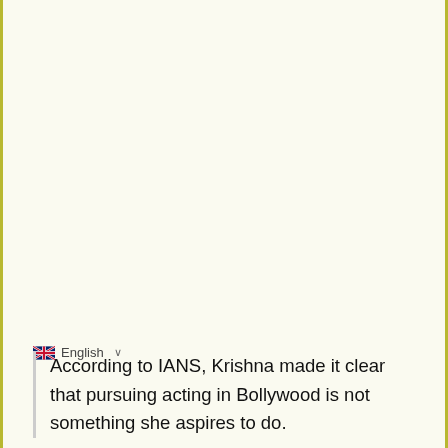🇬🇧 English ∨
According to IANS, Krishna made it clear that pursuing acting in Bollywood is not something she aspires to do.